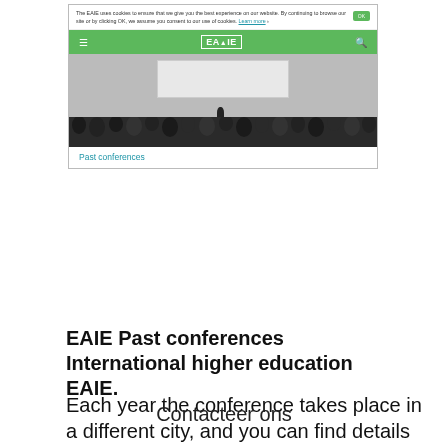[Figure (screenshot): Screenshot of EAIE website showing a cookie consent bar, green navigation bar with EAIE logo, and a black-and-white conference hall photo with audience. Below the photo is a 'Past conferences' link in teal.]
EAIE Past conferences International higher education EAIE.
Each year the conference takes place in a different city, and you can find details about all of the past EAIE conferences here. To date, there have been 31 EAIE physical conferences, steadily expanding over the years to reach thousands of higher education professionals.
Contacteer ons